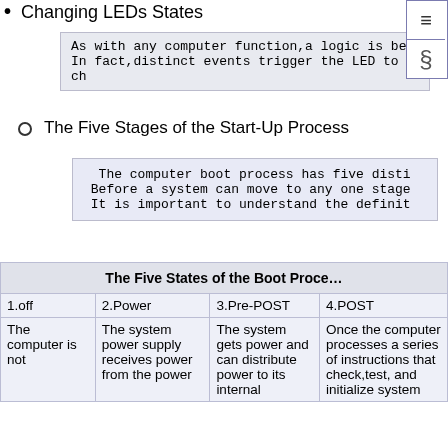Changing LEDs States
As with any computer function,a logic is beh
In fact,distinct events trigger the LED to ch
The Five Stages of the Start-Up Process
The computer boot process has five disti
Before a system can move to any one stage
It is important to understand the definit
| The Five States of the Boot Proce… |  |  |  |
| --- | --- | --- | --- |
| 1.off | 2.Power | 3.Pre-POST | 4.POST |
| The computer is not | The system power supply receives power from the power | The system gets power and can distribute power to its internal | Once the computer processes a series of instructions that check,test, and initialize system |